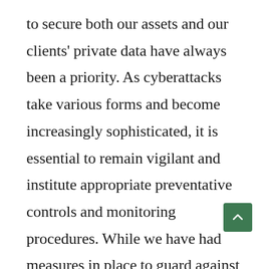to secure both our assets and our clients' private data have always been a priority. As cyberattacks take various forms and become increasingly sophisticated, it is essential to remain vigilant and institute appropriate preventative controls and monitoring procedures. While we have had measures in place to guard against cybercrime for some time, we are continually improving our processes to keep up with cybercriminals as they become increasingly innovative. We thought we'd share some strategies we take protect our (and steps you can take to protect